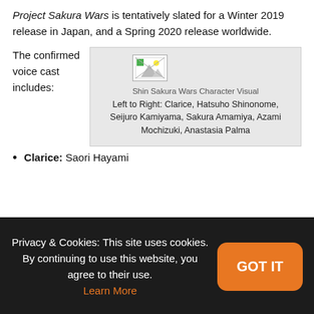Project Sakura Wars is tentatively slated for a Winter 2019 release in Japan, and a Spring 2020 release worldwide.
The confirmed voice cast includes:
[Figure (photo): Shin Sakura Wars Character Visual image placeholder with broken image icon]
Left to Right: Clarice, Hatsuho Shinonome, Seijuro Kamiyama, Sakura Amamiya, Azami Mochizuki, Anastasia Palma
Clarice: Saori Hayami
Privacy & Cookies: This site uses cookies. By continuing to use this website, you agree to their use. Learn More